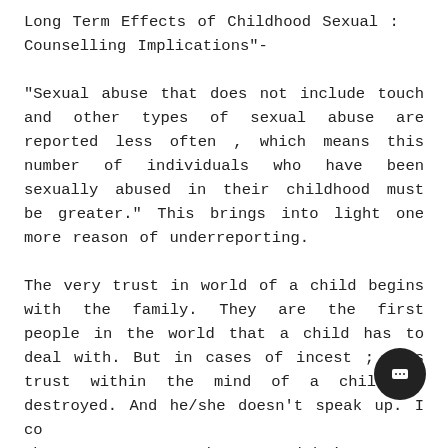Long Term Effects of Childhood Sexual : Counselling Implications"-
“Sexual abuse that does not include touch and other types of sexual abuse are reported less often , which means this number of individuals who have been sexually abused in their childhood must be greater.” This brings into light one more reason of underreporting.
The very trust in world of a child begins with the family. They are the first people in the world that a child has to deal with. But in cases of incest ; this trust within the mind of a child is destroyed. And he/she doesn’t speak up. I compared the two responses that agreed being